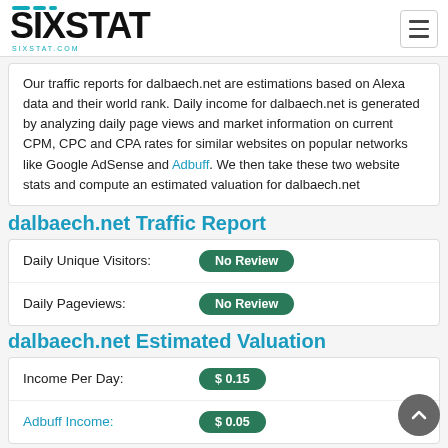SIXSTAT - sixstat.com
Our traffic reports for dalbaech.net are estimations based on Alexa data and their world rank. Daily income for dalbaech.net is generated by analyzing daily page views and market information on current CPM, CPC and CPA rates for similar websites on popular networks like Google AdSense and Adbuff. We then take these two website stats and compute an estimated valuation for dalbaech.net
dalbaech.net Traffic Report
| Metric | Value |
| --- | --- |
| Daily Unique Visitors: | No Review |
| Daily Pageviews: | No Review |
dalbaech.net Estimated Valuation
| Metric | Value |
| --- | --- |
| Income Per Day: | $ 0.15 |
| Adbuff Income: | $ 0.05 |